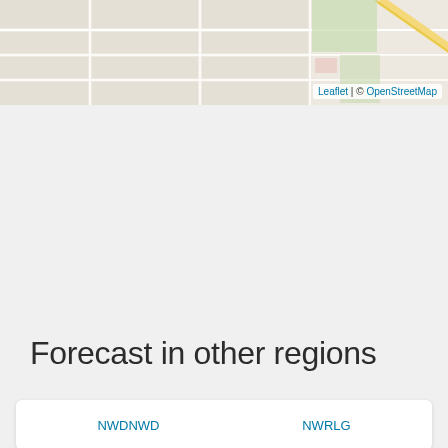[Figure (map): A Leaflet/OpenStreetMap map showing a street-level view with roads, blocks, and a diagonal road. Attribution reads: Leaflet | © OpenStreetMap]
Forecast in other regions
NWDNWD  NWRLG